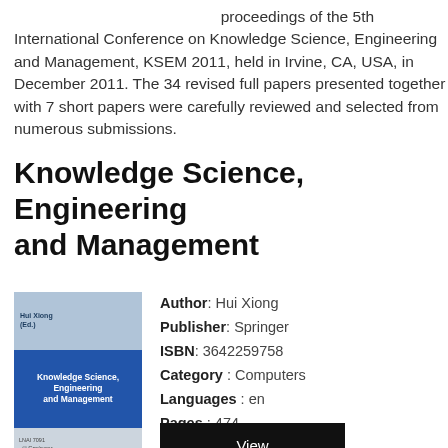proceedings of the 5th International Conference on Knowledge Science, Engineering and Management, KSEM 2011, held in Irvine, CA, USA, in December 2011. The 34 revised full papers presented together with 7 short papers were carefully reviewed and selected from numerous submissions.
Knowledge Science, Engineering and Management
[Figure (illustration): Book cover of 'Knowledge Science, Engineering and Management', blue and grey design, Springer publisher]
Author: Hui Xiong
Publisher: Springer
ISBN: 3642259758
Category: Computers
Languages: en
Pages: 474
View